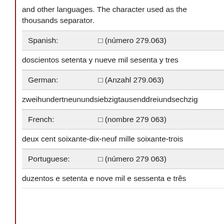and other languages. The character used as the thousands separator.
| Spanish: | · (número 279.063) | doscientos setenta y nueve mil sesenta y tres |
| German: | · (Anzahl 279.063) | zweihundertneunundsiebzigtausenddreiundsechzig |
| French: | · (nombre 279 063) | deux cent soixante-dix-neuf mille soixante-trois |
| Portuguese: | · (número 279 063) | duzentos e setenta e nove mil e sessenta e três |